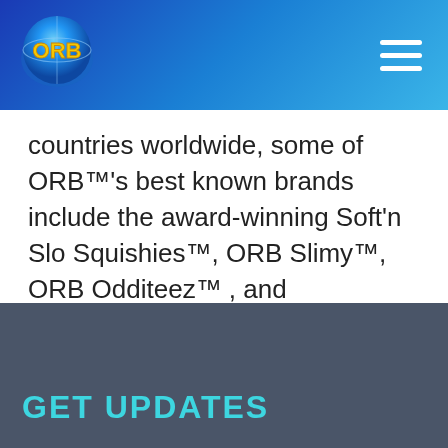[Figure (logo): ORB logo - blue globe with yellow ORB text]
countries worldwide, some of ORB™'s best known brands include the award-winning Soft'n Slo Squishies™, ORB Slimy™, ORB Odditeez™ , and MORPHIMALS™. For more information follow @orbtoys on Facebook, Instagram, YouTube and LinkedIn.
Source:
https://www.prweb.com/releases/orb_launches_it
GET UPDATES